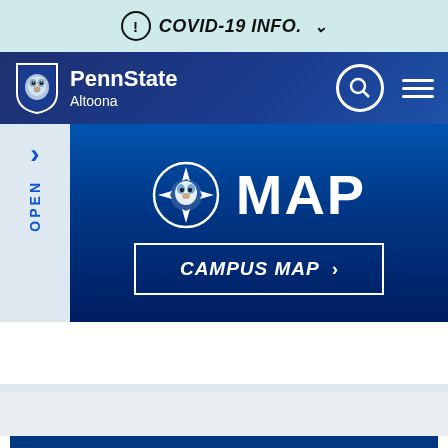COVID-19 INFO.
[Figure (screenshot): Penn State Altoona navigation bar with lion shield logo, search icon, and hamburger menu]
[Figure (screenshot): Campus MAP hero section with blue gradient background, Nittany Lion compass icon, MAP heading, and CAMPUS MAP button with side OPEN tab]
Development and Alumni